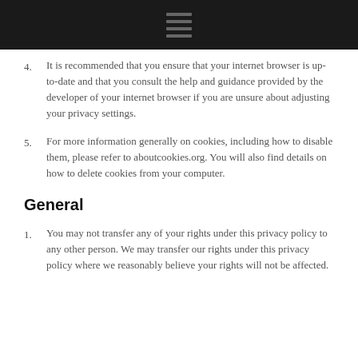4. It is recommended that you ensure that your internet browser is up-to-date and that you consult the help and guidance provided by the developer of your internet browser if you are unsure about adjusting your privacy settings.
5. For more information generally on cookies, including how to disable them, please refer to aboutcookies.org. You will also find details on how to delete cookies from your computer.
General
1. You may not transfer any of your rights under this privacy policy to any other person. We may transfer our rights under this privacy policy where we reasonably believe your rights will not be affected.